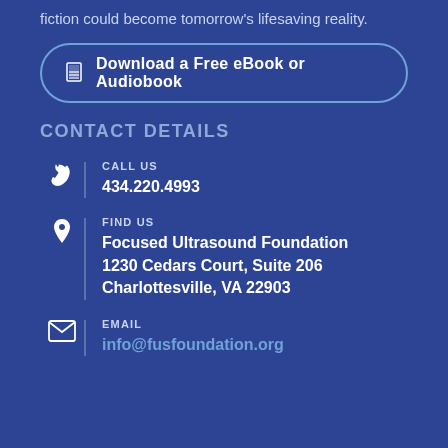fiction could become tomorrow's lifesaving reality.
Download a Free eBook or Audiobook
CONTACT DETAILS
CALL US
434.220.4993
FIND US
Focused Ultrasound Foundation
1230 Cedars Court, Suite 206 Charlottesville, VA 22903
EMAIL
info@fusfoundation.org